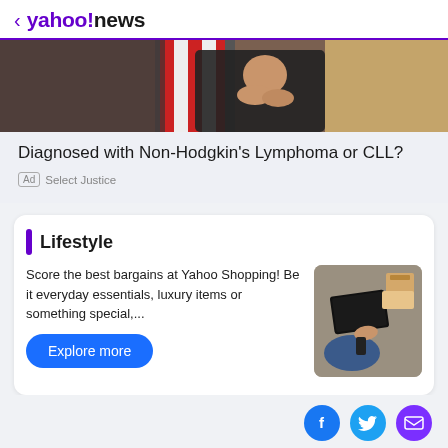< yahoo!news
[Figure (photo): Cropped photo of a person in dark clothing with an American flag in the background, hands clasped near face]
Diagnosed with Non-Hodgkin's Lymphoma or CLL?
Ad  Select Justice
Lifestyle
Score the best bargains at Yahoo Shopping! Be it everyday essentials, luxury items or something special,...
Explore more
[Figure (photo): Overhead photo of a person sitting on the floor using a laptop, with shopping boxes nearby]